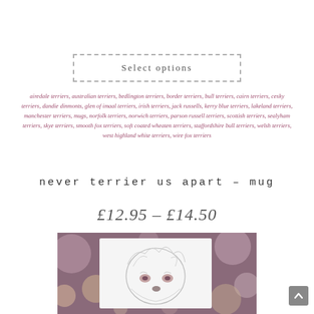Select options
airedale terriers, australian terriers, bedlington terriers, border terriers, bull terriers, cairn terriers, cesky terriers, dandie dinmonts, glen of imaal terriers, irish terriers, jack russells, kerry blue terriers, lakeland terriers, manchester terriers, mugs, norfolk terriers, norwich terriers, parson russell terriers, scottish terriers, sealyham terriers, skye terriers, smooth fox terriers, soft coated wheaten terriers, staffordshire bull terriers, welsh terriers, west highland white terriers, wire fox terriers
never terrier us apart – mug
£12.95 – £14.50
[Figure (photo): Product image showing a mug with a pencil-sketch illustration of a terrier dog face, set against a bokeh background with soft pink, purple, and gold circular light effects.]